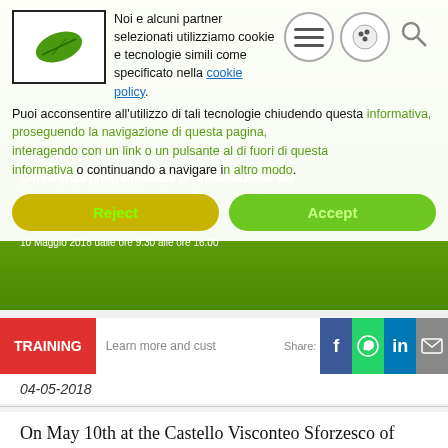[Figure (screenshot): Screenshot of a website with a cookie consent overlay. Behind the overlay is a green card about 'Conferenza programmatica di presentazione del Piano Nazionale del Verde' at Castello Visconteo Sforzesco di Novara, 10 Maggio 2018. The overlay contains cookie policy text in Italian, Reject and Accept buttons, social share buttons (Facebook, WhatsApp, LinkedIn, Email), a red TRAINING badge, and a date 04-05-2018. Below is article text in English.]
Noi e alcuni partner selezionati utilizziamo cookie e tecnologie simili come specificato nella cookie policy. Puoi acconsentire all'utilizzo di tali tecnologie chiudendo questa informativa, proseguendo la navigazione di questa pagina, interagendo con un link o un pulsante al di fuori di questa informativa o continuando a navigare in altro modo.
Reject
Accept
TRAINING
Learn more and customize
Share:
04-05-2018
On May 10th at the Castello Visconteo Sforzesco of Novara an important conference will be held, organized by the Committee for the development of the public green of the Ministry of the Environment and of the protection of the